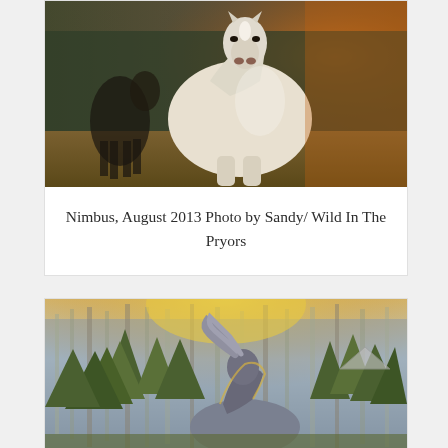[Figure (photo): White horse walking toward camera in a field, with a dark horse blurred in background, warm golden light on right side, forest behind]
Nimbus, August 2013 Photo by Sandy/ Wild In The Pryors
[Figure (photo): Gray or blue-roan horse in a forest clearing with tall pine trees, warm sunrise/sunset golden light, horse appears to be tossing its mane, back-lit scene]